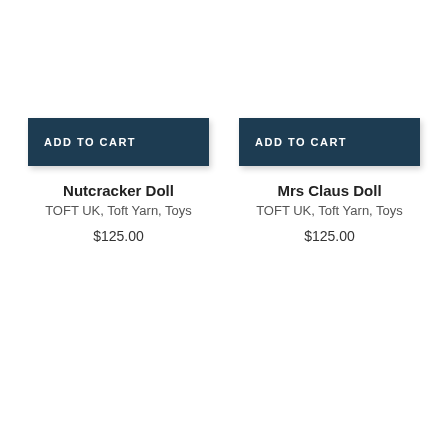ADD TO CART
Nutcracker Doll
TOFT UK, Toft Yarn, Toys
$125.00
ADD TO CART
Mrs Claus Doll
TOFT UK, Toft Yarn, Toys
$125.00